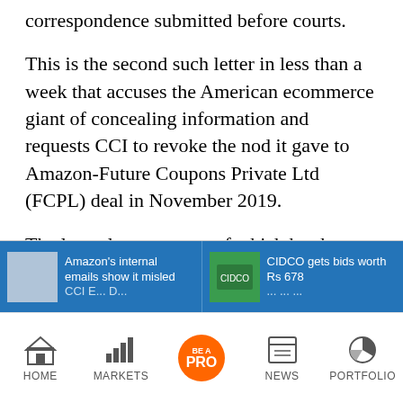correspondence submitted before courts.
This is the second such letter in less than a week that accuses the American ecommerce giant of concealing information and requests CCI to revoke the nod it gave to Amazon-Future Coupons Private Ltd (FCPL) deal in November 2019.
The latest letter, a copy of which has been reviewed by Moneycontrol, says that the independent directors examined the pre-contractual negotiation records of Amazon's
[Figure (screenshot): Related article card: 'Amazon's internal emails show it misled CCI...' on blue background with thumbnail]
[Figure (screenshot): Related article card: 'CIDCO gets bids worth Rs 678...' on blue background with green thumbnail]
[Figure (screenshot): Bottom navigation bar with HOME, MARKETS, BE A PRO, NEWS, PORTFOLIO icons]